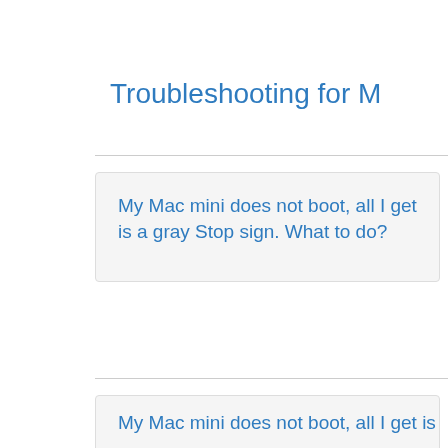Troubleshooting for M
My Mac mini does not boot, all I get is a gray Stop sign. What to do?
My Mac mini does not boot, all I get is a